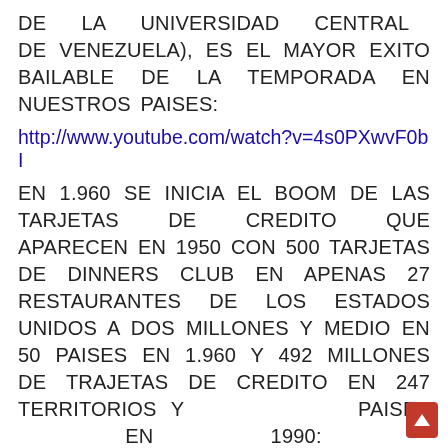DE LA UNIVERSIDAD CENTRAL DE VENEZUELA), ES EL MAYOR EXITO BAILABLE DE LA TEMPORADA EN NUESTROS PAISES:
http://www.youtube.com/watch?v=4s0PXwvF0bI
EN 1.960 SE INICIA EL BOOM DE LAS TARJETAS DE CREDITO QUE APARECEN EN 1950 CON 500 TARJETAS DE DINNERS CLUB EN APENAS 27 RESTAURANTES DE LOS ESTADOS UNIDOS A DOS MILLONES Y MEDIO EN 50 PAISES EN 1.960 Y 492 MILLONES DE TRAJETAS DE CREDITO EN 247 TERRITORIOS Y PAISES EN 1990:
http://es.wikipedia.org/wiki/Tarjetas_de_credito